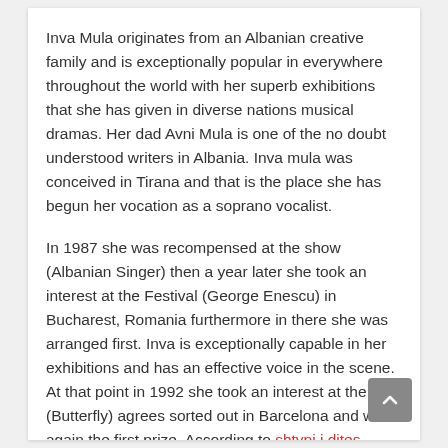Inva Mula originates from an Albanian creative family and is exceptionally popular in everywhere throughout the world with her superb exhibitions that she has given in diverse nations musical dramas. Her dad Avni Mula is one of the no doubt understood writers in Albania. Inva mula was conceived in Tirana and that is the place she has begun her vocation as a soprano vocalist.
In 1987 she was recompensed at the show (Albanian Singer) then a year later she took an interest at the Festival (George Enescu) in Bucharest, Romania furthermore in there she was arranged first. Inva is exceptionally capable in her exhibitions and has an effective voice in the scene. At that point in 1992 she took an interest at the (Butterfly) agrees sorted out in Barcelona and won again the first prize. According to shtypi i dites gazeta shekulli Biography done for her!
In 1993 she won another prize however this time in